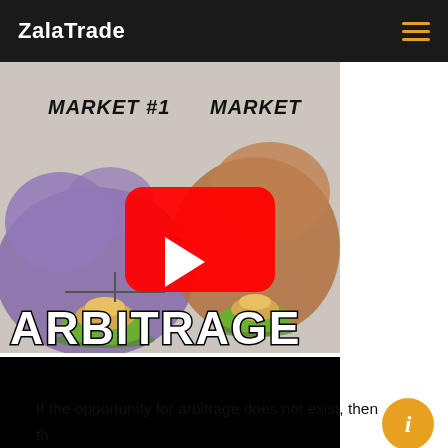ZalaTrade
[Figure (screenshot): YouTube video thumbnail showing an arbitrage explainer video with two markets labeled MARKET #1 and MARKET, maps with illustrated characters (dome-hatted figures on scales), a dollar sign, YouTube play button, and large text 'ARBITRAGE' at the bottom. Below the thumbnail is a black video player bar.]
If the opportunity for arbitrage does not exist, then the situation becomes unstable. For example, suppose that A and B